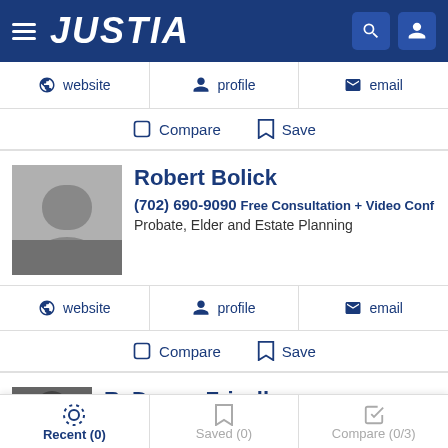JUSTIA
website  profile  email
Compare  Save
Robert Bolick
(702) 690-9090 Free Consultation + Video Conf
Probate, Elder and Estate Planning
website  profile  email
Compare  Save
R. Duane Frizell
Recent (0)  Saved (0)  Compare (0/3)